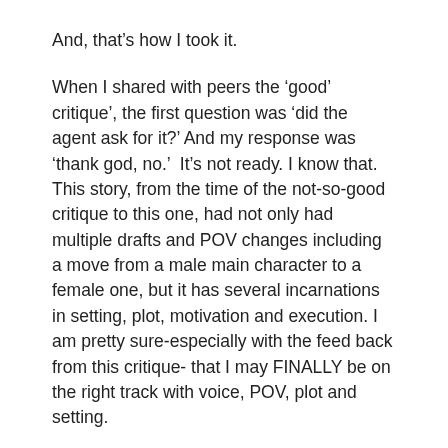And, that's how I took it.
When I shared with peers the 'good' critique', the first question was 'did the agent ask for it?' And my response was 'thank god, no.'  It's not ready. I know that. This story, from the time of the not-so-good critique to this one, had not only had multiple drafts and POV changes including a move from a male main character to a female one, but it has several incarnations in setting, plot, motivation and execution. I am pretty sure-especially with the feed back from this critique- that I may FINALLY be on the right track with voice, POV, plot and setting.
For me this was a great critique. I have all of the agent's notes, written liberally on the SCBWI Critique Notes & Talking Points as well as scattered throughout my submission and synopsis. I have the time and the freedom to think more about this story. The time and...